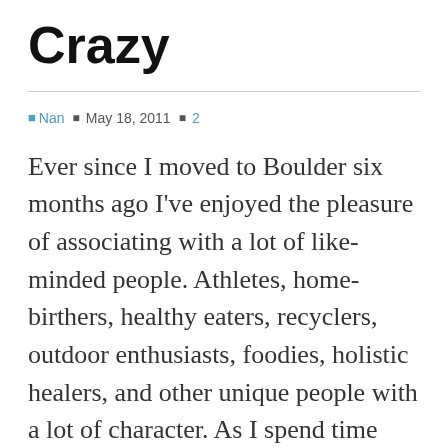Crazy
Nan  May 18, 2011  2
Ever since I moved to Boulder six months ago I've enjoyed the pleasure of associating with a lot of like-minded people. Athletes, home-birthers, healthy eaters, recyclers, outdoor enthusiasts, foodies, holistic healers, and other unique people with a lot of character. As I spend time with these people and grow to love and appreciate them for who they are its interesting to me how so many of